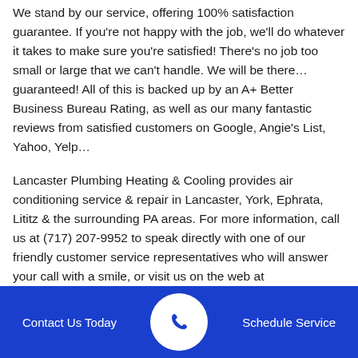We stand by our service, offering 100% satisfaction guarantee. If you're not happy with the job, we'll do whatever it takes to make sure you're satisfied! There's no job too small or large that we can't handle. We will be there… guaranteed! All of this is backed up by an A+ Better Business Bureau Rating, as well as our many fantastic reviews from satisfied customers on Google, Angie's List, Yahoo, Yelp…
Lancaster Plumbing Heating & Cooling provides air conditioning service & repair in Lancaster, York, Ephrata, Lititz & the surrounding PA areas. For more information, call us at (717) 207-9952 to speak directly with one of our friendly customer service representatives who will answer your call with a smile, or visit us on the web at http://www.lph.biz for our great specials, including a $99 A/C check or a Freon
Contact Us Today   Schedule Service